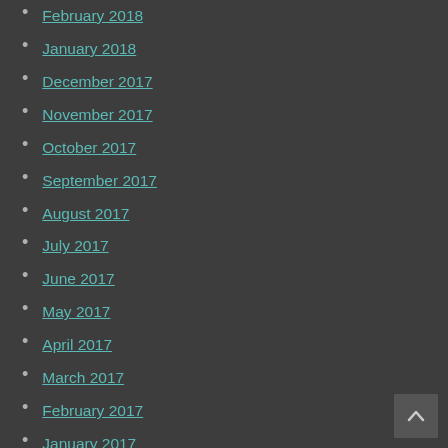February 2018
January 2018
December 2017
November 2017
October 2017
September 2017
August 2017
July 2017
June 2017
May 2017
April 2017
March 2017
February 2017
January 2017
Categories
Aleksi Heponiemi Jersey
Brandon Graham Jersey
Brandon Roy Jersey